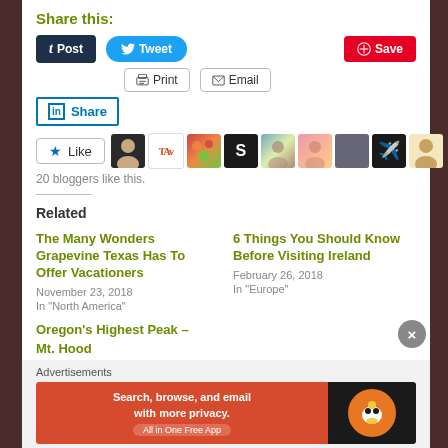Share this:
[Figure (screenshot): Social share buttons: Post (Tumblr), Tweet (Twitter), Save (Pinterest), Print, Email, Share (LinkedIn), Like with avatars]
20 bloggers like this.
Related
The Many Wonders Grapevine Texas Has To Offer Vacationers
November 23, 2018
In "North America"
6 Things You Should Know Before Visiting Ireland
February 26, 2018
In "Europe"
Oregon's Highest Peak – Mt. Hood
Advertisements
[Figure (screenshot): DuckDuckGo advertisement banner: Search, browse, and email with more privacy. All in One Free App]